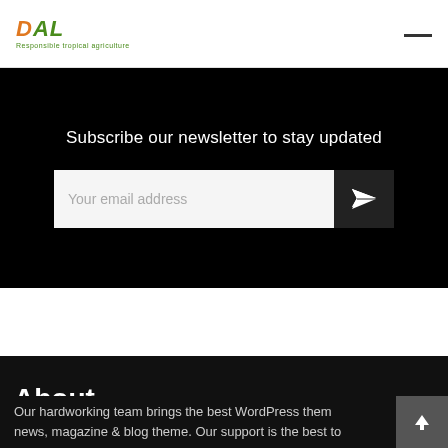DAL - Responsible tropical agriculture
Subscribe our newsletter to stay updated
Your email address
About
Our hardworking team brings the best WordPress them news, magazine & blog theme. Our support is the best to